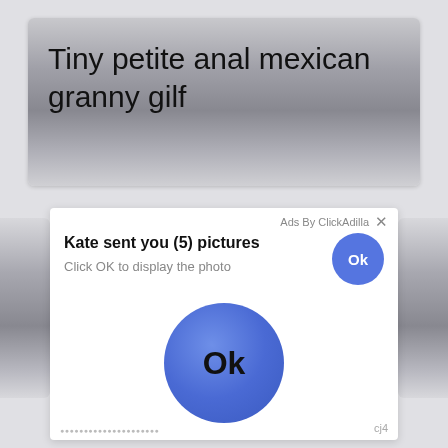Tiny petite anal mexican granny gilf
[Figure (screenshot): Ad popup from ClickAdilla. Header says 'Ads By ClickAdilla' with an X close button. Main text: 'Kate sent you (5) pictures' with a small blue Ok button. Subtitle: 'Click OK to display the photo'. Large blue circle Ok button in the center. Footer cj4.]